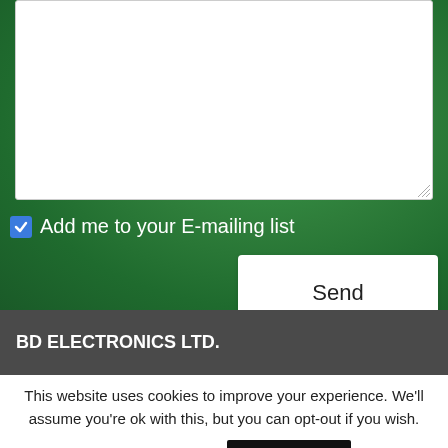[Figure (screenshot): Green background contact form section with a white textarea input box, a checked checkbox labeled 'Add me to your E-mailing list', and a white 'Send' button]
Add me to your E-mailing list
Send
BD ELECTRONICS LTD.
This website uses cookies to improve your experience. We'll assume you're ok with this, but you can opt-out if you wish.
Cookie settings
ACCEPT